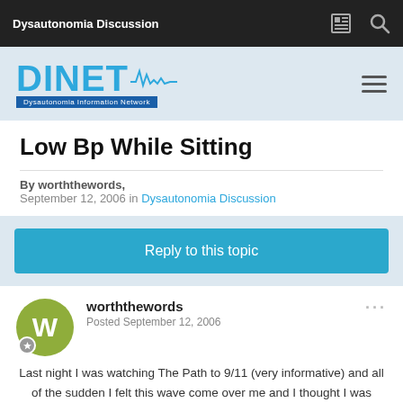Dysautonomia Discussion
[Figure (logo): DINET Dysautonomia Information Network logo with waveform graphic]
Low Bp While Sitting
By worththewords,
September 12, 2006 in Dysautonomia Discussion
Reply to this topic
worththewords
Posted September 12, 2006
Last night I was watching The Path to 9/11 (very informative) and all of the sudden I felt this wave come over me and I thought I was going to